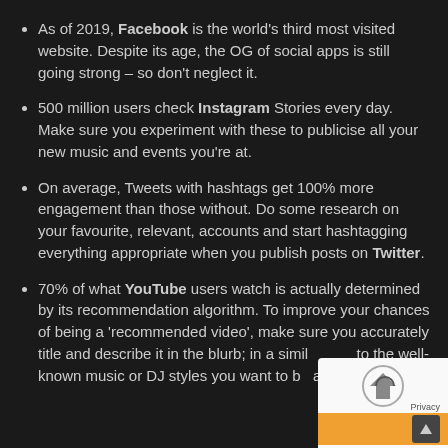As of 2019, Facebook is the world's third most visited website. Despite its age, the OG of social apps is still going strong – so don't neglect it.
500 million users check Instagram Stories every day. Make sure you experiment with these to publicise all your new music and events you're at.
On average, Tweets with hashtags get 100% more engagement than those without. Do some research on your favourite, relevant, accounts and start hashtagging everything appropriate when you publish posts on Twitter.
70% of what YouTube users watch is actually determined by its recommendation algorithm. To improve your chances of being a 'recommended video', make sure you accurately title and describe it in the blurb; in a similar way to the well-known music or DJ styles you want to be associated with.